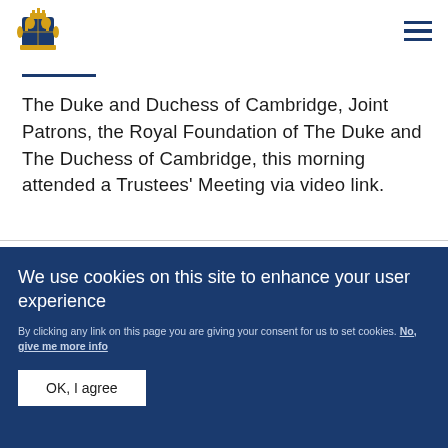[Figure (logo): Royal coat of arms / royal crest logo in dark blue]
The Duke and Duchess of Cambridge, Joint Patrons, the Royal Foundation of The Duke and The Duchess of Cambridge, this morning attended a Trustees' Meeting via video link.
We use cookies on this site to enhance your user experience
By clicking any link on this page you are giving your consent for us to set cookies. No, give me more info
OK, I agree